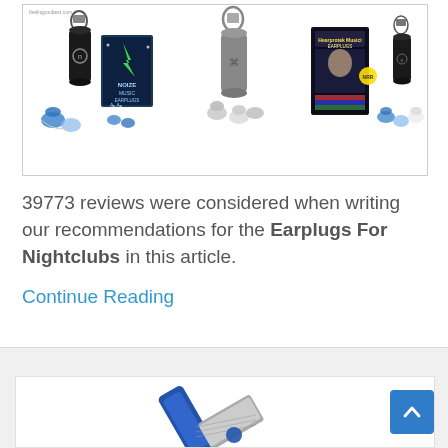[Figure (photo): Product photo showing multiple earplug sets for nightclubs: black cylindrical cases with carabiner clips, blue silicone earplugs, product packaging boxes, and a gray metal carrying case with eartip attachments.]
39773 reviews were considered when writing our recommendations for the Earplugs For Nightclubs in this article.
Continue Reading
[Figure (photo): Partial view of another product at the bottom of the page, showing a blue handle item, partially cropped.]